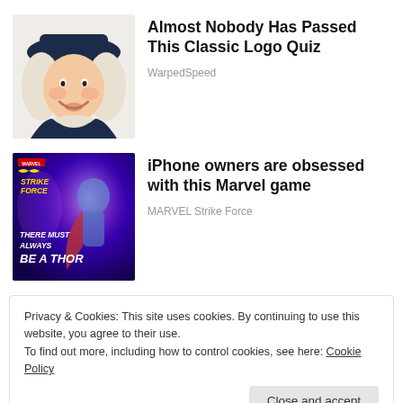[Figure (illustration): Quaker Oats man character with white colonial wig and black hat, smiling]
Almost Nobody Has Passed This Classic Logo Quiz
WarpedSpeed
[Figure (photo): Marvel Strike Force promotional image: Thor character with purple/blue lightning background, text 'THERE MUST ALWAYS BE A THOR' in bold white/yellow]
iPhone owners are obsessed with this Marvel game
MARVEL Strike Force
Privacy & Cookies: This site uses cookies. By continuing to use this website, you agree to their use.
To find out more, including how to control cookies, see here: Cookie Policy
Close and accept